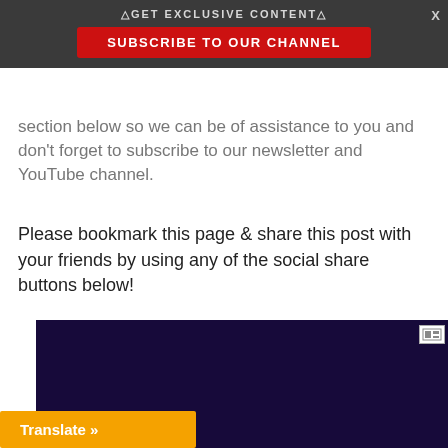△GET EXCLUSIVE CONTENT△
SUBSCRIBE TO OUR CHANNEL
section below so we can be of assistance to you and don't forget to subscribe to our newsletter and YouTube channel.
Please bookmark this page & share this post with your friends by using any of the social share buttons below!
[Figure (illustration): Cartoon illustration of a red hand with three fingers raised and yellow oval eyes with a curved arrow]
[Figure (screenshot): Dark purple/navy advertisement block with small ad indicator icon in top right corner]
Translate »